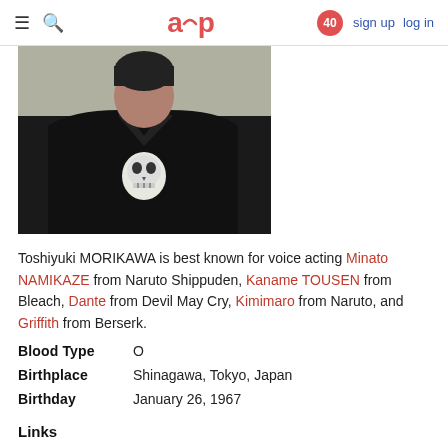≡  🔍   aup   40   sign up   log in
[Figure (photo): Partial photo of Toshiyuki Morikawa wearing a black jacket/shirt with a skull graphic, cropped at chest/torso level]
Toshiyuki MORIKAWA is best known for voice acting Minato NAMIKAZE from Naruto Shippuden, Kaname TOUSEN from Bleach, Dante from Devil May Cry, Kimimaro from Naruto, and Griffith from Berserk.
Blood Type   O
Birthplace   Shinagawa, Tokyo, Japan
Birthday   January 26, 1967
Links
Official Site
Blog
Twitter